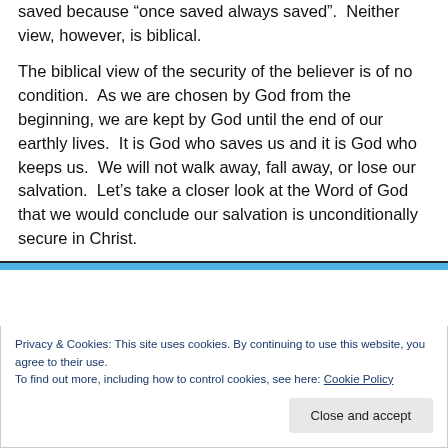saved because “once saved always saved”. Neither view, however, is biblical.
The biblical view of the security of the believer is of no condition. As we are chosen by God from the beginning, we are kept by God until the end of our earthly lives. It is God who saves us and it is God who keeps us. We will not walk away, fall away, or lose our salvation. Let’s take a closer look at the Word of God that we would conclude our salvation is unconditionally secure in Christ.
Privacy & Cookies: This site uses cookies. By continuing to use this website, you agree to their use. To find out more, including how to control cookies, see here: Cookie Policy